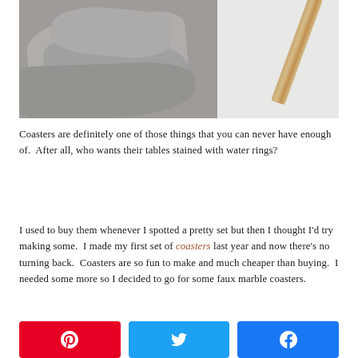[Figure (photo): Close-up photo of grey linen/fabric folded, with a wooden stick or chopstick on the right side against a light background]
Coasters are definitely one of those things that you can never have enough of. After all, who wants their tables stained with water rings?
I used to buy them whenever I spotted a pretty set but then I thought I'd try making some. I made my first set of coasters last year and now there's no turning back. Coasters are so fun to make and much cheaper than buying. I needed some more so I decided to go for some faux marble coasters.